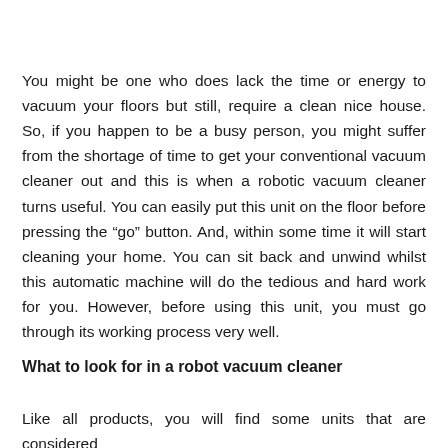You might be one who does lack the time or energy to vacuum your floors but still, require a clean nice house. So, if you happen to be a busy person, you might suffer from the shortage of time to get your conventional vacuum cleaner out and this is when a robotic vacuum cleaner turns useful. You can easily put this unit on the floor before pressing the “go” button. And, within some time it will start cleaning your home. You can sit back and unwind whilst this automatic machine will do the tedious and hard work for you. However, before using this unit, you must go through its working process very well.
What to look for in a robot vacuum cleaner
Like all products, you will find some units that are considered